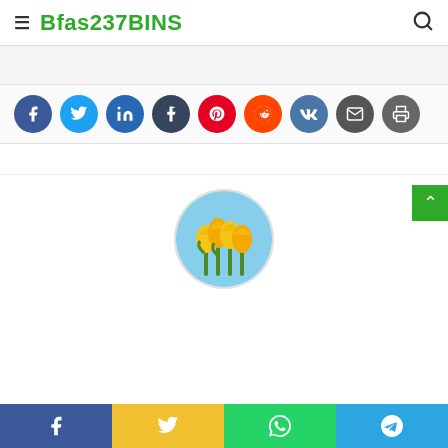Bfas237BINS
[Figure (screenshot): Social share buttons: Facebook, Twitter, LinkedIn, Tumblr, Pinterest, Reddit, VK, Email, Print]
[Figure (photo): Circular profile photo of yellow tulips against a blue sky]
[Figure (screenshot): Bottom bar with Facebook, Twitter, WhatsApp, and Telegram share buttons]